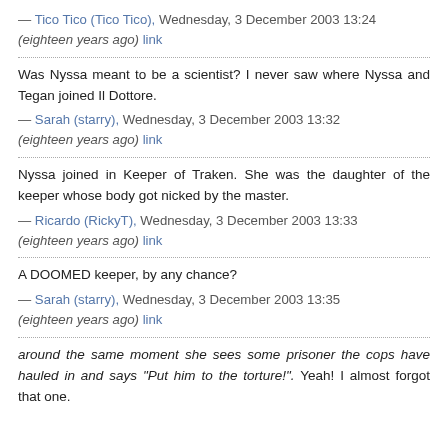— Tico Tico (Tico Tico), Wednesday, 3 December 2003 13:24 (eighteen years ago) link
Was Nyssa meant to be a scientist? I never saw where Nyssa and Tegan joined Il Dottore.
— Sarah (starry), Wednesday, 3 December 2003 13:32 (eighteen years ago) link
Nyssa joined in Keeper of Traken. She was the daughter of the keeper whose body got nicked by the master.
— Ricardo (RickyT), Wednesday, 3 December 2003 13:33 (eighteen years ago) link
A DOOMED keeper, by any chance?
— Sarah (starry), Wednesday, 3 December 2003 13:35 (eighteen years ago) link
around the same moment she sees some prisoner the cops have hauled in and says "Put him to the torture!". Yeah! I almost forgot that one.